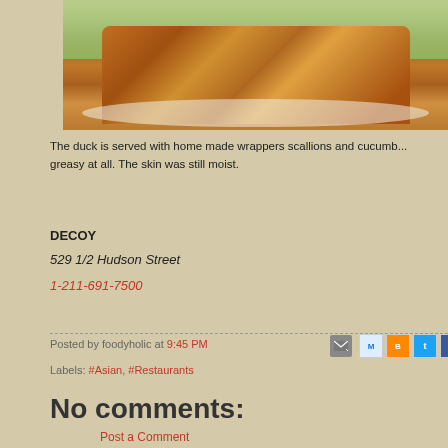[Figure (photo): Photo of Peking duck served on a white plate with cucumber and scallion garnish, crispy browned skin visible]
The duck is served with home made wrappers scallions and cucumb... greasy at all. The skin was still moist.
DECOY
529 1/2 Hudson Street
1-211-691-7500
Posted by foodyholic at 9:45 PM
Labels: #Asian, #Restaurants
No comments:
Post a Comment